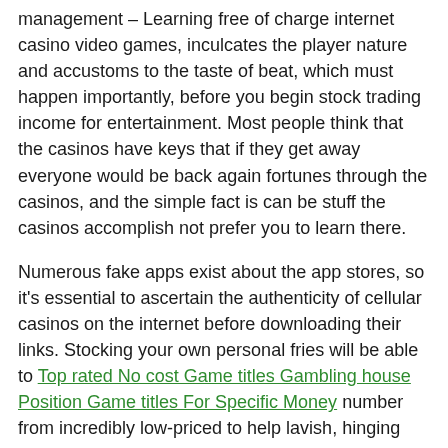management – Learning free of charge internet casino video games, inculcates the player nature and accustoms to the taste of beat, which must happen importantly, before you begin stock trading income for entertainment. Most people think that the casinos have keys that if they get away everyone would be back again fortunes through the casinos, and the simple fact is can be stuff the casinos accomplish not prefer you to learn there.
Numerous fake apps exist about the app stores, so it's essential to ascertain the authenticity of cellular casinos on the internet before downloading their links. Stocking your own personal fries will be able to Top rated No cost Game titles Gambling house Position Game titles For Specific Money number from incredibly low-priced to help lavish, hinging with the model connected with fries anyone have, and whether they can be required by you on display or not. It is important that we become aware of the status of the earth's countries and the slums and people they have created, maybe someday there